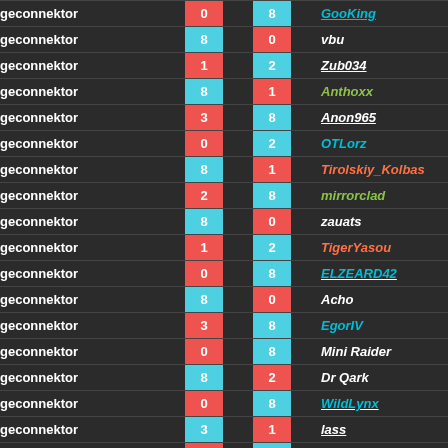| Left Player | Icon L | Score L | VS | Score R | Icon R | Right Player |
| --- | --- | --- | --- | --- | --- | --- |
| geconnektor |  | 0 |  | 8 |  | GooKing |
| geconnektor |  | 8 |  | 0 |  | vbu |
| geconnektor |  | 1 |  | 2 |  | Zub034 |
| geconnektor |  | 8 |  | 1 |  | Anthoxx |
| geconnektor |  | 3 |  | 8 |  | Anon965 |
| geconnektor |  | 0 |  | 2 |  | OTLorz |
| geconnektor |  | 8 |  | 1 |  | Tirolskiy_Kolbas |
| geconnektor |  | 2 |  | 8 |  | mirrorclad |
| geconnektor |  | 8 |  | 0 |  | zauats |
| geconnektor |  | 1 |  | 2 |  | TigerYasou |
| geconnektor |  | 0 |  | 8 |  | ELZEARD42 |
| geconnektor |  | 8 |  | 0 |  | Acho |
| geconnektor |  | 3 |  | 8 |  | EgorIV |
| geconnektor |  | 0 |  | 8 |  | Mini Raider |
| geconnektor |  | 8 |  | 2 |  | Dr Qark |
| geconnektor |  | 0 |  | 8 |  | WildLynx |
| geconnektor |  | 3 |  | 1 |  | lass |
| geconnektor |  | 0 |  | 2 |  | zerraxys |
| geconnektor |  | ? |  | ? |  | fritelite |